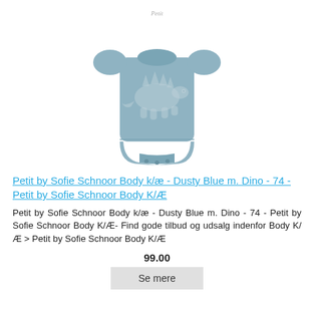[Figure (photo): Light blue/dusty blue baby bodysuit with short sleeves and a dinosaur (stegosaurus) outline embroidered in white on the front, photographed on a white background.]
Petit by Sofie Schnoor Body k/æ - Dusty Blue m. Dino - 74 - Petit by Sofie Schnoor Body K/Æ
Petit by Sofie Schnoor Body k/æ - Dusty Blue m. Dino - 74 - Petit by Sofie Schnoor Body K/Æ- Find gode tilbud og udsalg indenfor Body K/Æ > Petit by Sofie Schnoor Body K/Æ
99.00
Se mere